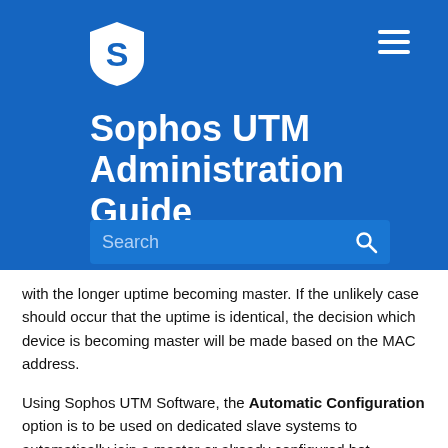[Figure (logo): Sophos shield logo with letter S in blue and white]
Sophos UTM Administration Guide
with the longer uptime becoming master. If the unlikely case should occur that the uptime is identical, the decision which device is becoming master will be made based on the MAC address.
Using Sophos UTM Software, the Automatic Configuration option is to be used on dedicated slave systems to automatically join a master or already configured hot standby system/cluster. For that reason, Automatic Configuration can be considered a transition mode rather than a high availability operation mode in its own right. For